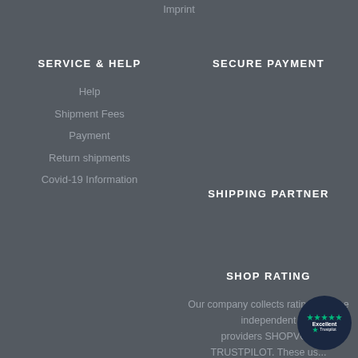Imprint
SERVICE & HELP
SECURE PAYMENT
Help
Shipment Fees
Payment
Return shipments
Covid-19 Information
SHIPPING PARTNER
SHOP RATING
Our company collects ratings via the independent rating providers SHOPVO... TRUSTPILOT. These us...
[Figure (logo): Trustpilot badge with green stars and Excellent label]